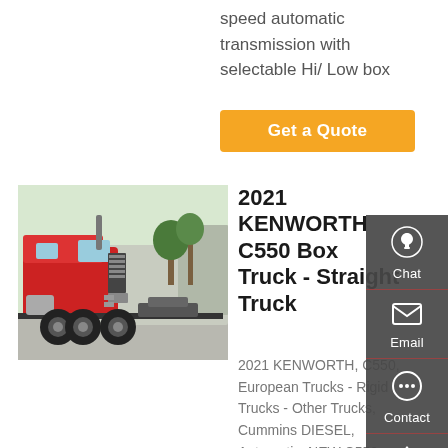speed automatic transmission with selectable Hi/ Low box
Get a Quote
[Figure (photo): Red Kenworth C550 heavy truck parked outdoors, 6x4 configuration, side and front view]
2021 KENWORTH C550 Box Truck - Straight Truck
2021 KENWORTH, C550, European Trucks - Rigid Trucks - Other Trucks, Cummins DIESEL, Automatic, NEW C550 8X6 FIELD HAUL TRUCKS. ANY TERRAIN. ANY PURPOSE. ANY CONFIGURATION. WE DO